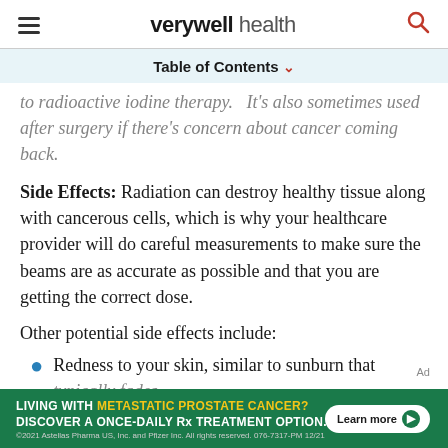verywell health
Table of Contents
to radioactive iodine therapy. It's also sometimes used after surgery if there's concern about cancer coming back.
Side Effects: Radiation can destroy healthy tissue along with cancerous cells, which is why your healthcare provider will do careful measurements to make sure the beams are as accurate as possible and that you are getting the correct dose.
Other potential side effects include:
Redness to your skin, similar to sunburn that typically fades
[Figure (infographic): Green advertisement banner: LIVING WITH METASTATIC PROSTATE CANCER? DISCOVER A ONCE-DAILY Rx TREATMENT OPTION. Learn more button. 2021 Astellas Pharma US, Inc. and Pfizer Inc. All rights reserved. 076-7317-PM 12/21]